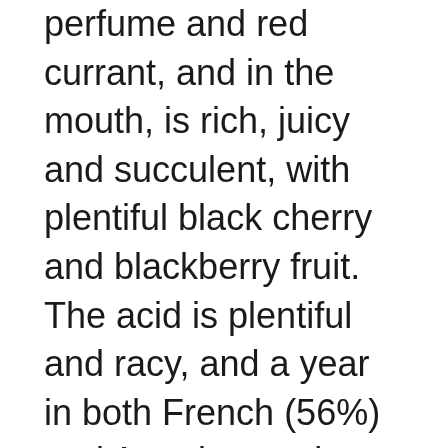perfume and red currant, and in the mouth, is rich, juicy and succulent, with plentiful black cherry and blackberry fruit. The acid is plentiful and racy, and a year in both French (56%) and American oak (44%), added just the right toasty creaminess to impart a fantastic texture and satisfying finish.
Winemaker Jeff Runquist has produced Barbera from over a half dozen different Amador Vineyards declares his favorite to be the Dick Cooper Vineyard, from which they have produced a vineyard designate since